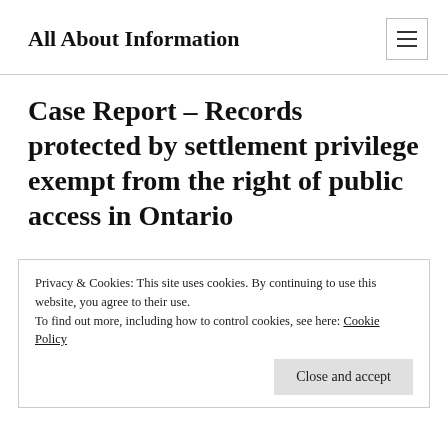All About Information
Case Report – Records protected by settlement privilege exempt from the right of public access in Ontario
Privacy & Cookies: This site uses cookies. By continuing to use this website, you agree to their use.
To find out more, including how to control cookies, see here: Cookie Policy
Close and accept